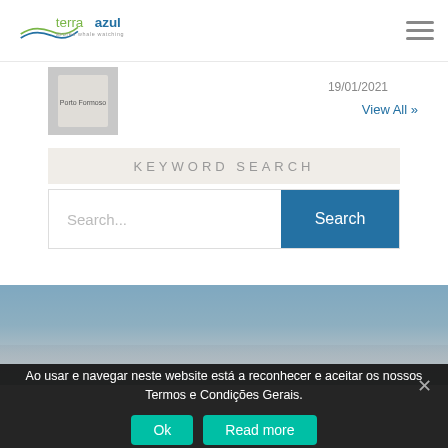Terra Azul – Azores Whale Watching
[Figure (photo): Thumbnail image of a sign or tag reading 'Porto Formoso']
19/01/2021
View All »
KEYWORD SEARCH
Search...
Search
[Figure (photo): Ocean and sky photograph showing blue sky with scattered clouds over calm sea]
Ao usar e navegar neste website está a reconhecer e aceitar os nossos Termos e Condições Gerais.
Ok
Read more